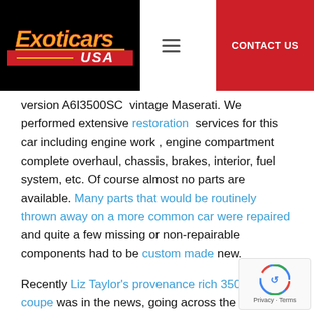[Figure (logo): Exoticars USA logo — black background, orange/yellow stylized text 'Exoticars' with red underline stripe and 'USA' in white on red stripe]
version A6I3500SC  vintage Maserati. We performed extensive restoration  services for this car including engine work , engine compartment complete overhaul, chassis, brakes, interior, fuel system, etc. Of course almost no parts are available. Many parts that would be routinely thrown away on a more common car were repaired and quite a few missing or non-repairable components had to be custom made new.

Recently Liz Taylor's provenance rich 3500GT coupe was in the news, going across the block at Gooding & Company's  Pebble Beach auction in August 2017.

More recently we performed a complete
[Figure (logo): reCAPTCHA widget — grey box with reCAPTCHA spinner icon and Privacy · Terms text]